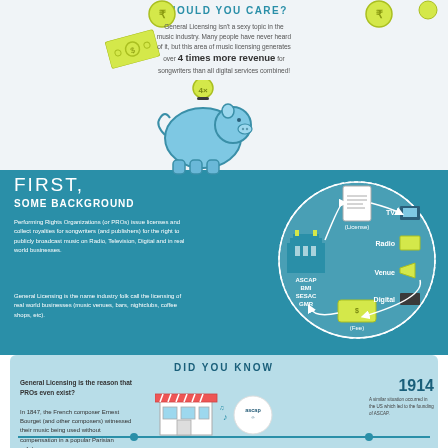SHOULD YOU CARE?
General Licensing isn't a sexy topic in the music industry. Many people have never heard of it, but this area of music licensing generates over 4 times more revenue for songwriters than all digital services combined!
[Figure (infographic): Piggy bank illustration with a coin labeled 4x on top]
FIRST, SOME BACKGROUND
Performing Rights Organizations (or PROs) issue licenses and collect royalties for songwriters (and publishers) for the right to publicly broadcast music on Radio, Television, Digital and in real world businesses.
General Licensing is the name industry folk call the licensing of real world businesses (music venues, bars, nightclubs, coffee shops, etc).
[Figure (diagram): Circle diagram showing flow from ASCAP BMI SESAC GMR (building icon) through License document to TV, Radio, Venue, Digital outlets, and back via Fee]
DID YOU KNOW
General Licensing is the reason that PROs even exist?
In 1847, the French composer Ernest Bourget (and other composers) witnessed their music being used without compensation in a popular Parisian cafe/venue.
1914
A similar situation occurred in the US which led to the founding of ASCAP.